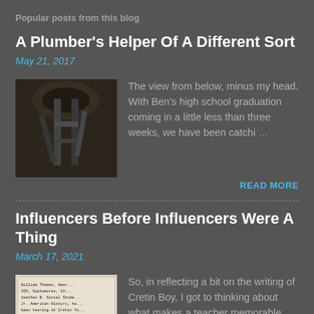Popular posts from this blog
A Plumber's Helper Of A Different Sort
May 21, 2017
[Figure (photo): View from below showing plumbing pipes]
The view from below, minus my head. With Ben's high school graduation coming in a little less than three weeks, we have been catchi…
READ MORE
Influencers Before Influencers Were A Thing
March 17, 2021
[Figure (photo): Old book or document with text about American history]
So, in reflecting a bit on the writing of Cretin Boy, I got to thinking about what makes a teacher memorable. What are the